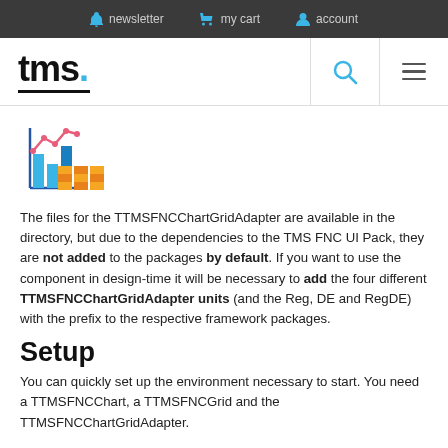newsletter   my cart   account
[Figure (logo): TMS software logo with blue dot and underline]
[Figure (illustration): Product icon: bar chart with line chart overlay and grid/calendar graphic in blue, red/pink, and orange]
The files for the TTMSFNCChartGridAdapter are available in the directory, but due to the dependencies to the TMS FNC UI Pack, they are not added to the packages by default. If you want to use the component in design-time it will be necessary to add the four different TTMSFNCChartGridAdapter units (and the Reg, DE and RegDE) with the prefix to the respective framework packages.
Setup
You can quickly set up the environment necessary to start. You need a TTMSFNCChart, a TTMSFNCGrid and the TTMSFNCChartGridAdapter.